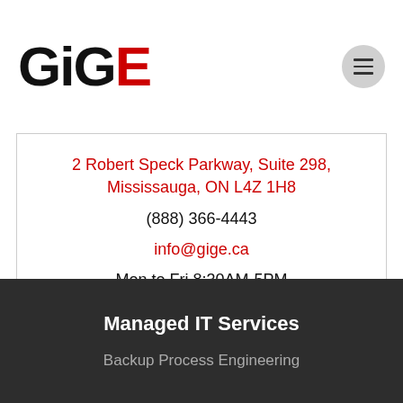[Figure (logo): GigE company logo — stylized letters 'GigE' with 'Gig' in black and 'E' in red]
2 Robert Speck Parkway, Suite 298, Mississauga, ON L4Z 1H8
(888) 366-4443
info@gige.ca
Mon to Fri 8:30AM-5PM
Weekends Closed
Managed IT Services
Backup Process Engineering